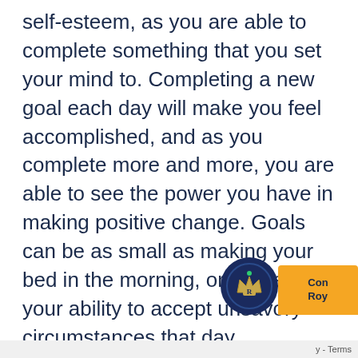self-esteem, as you are able to complete something that you set your mind to. Completing a new goal each day will make you feel accomplished, and as you complete more and more, you are able to see the power you have in making positive change. Goals can be as small as making your bed in the morning, or challenging your ability to accept unsavory circumstances that day.
6. Write a gratitude list every day
Taking time out of each day to sit down and write five things you are grateful for, is an excellent practice. Writing a list of gratitude will improve your mood, and show yo the things you can be grateful to ha in our addiction, we tend to focus on all that